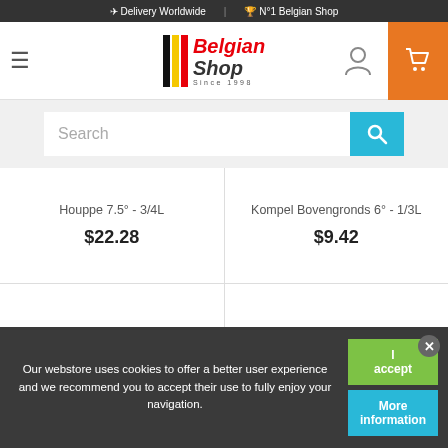✈ Delivery Worldwide | 🏆 N°1 Belgian Shop
[Figure (logo): Belgian Shop logo with black/yellow/red vertical bars and red italic 'Belgian Shop' text, 'Since 1998' subtitle]
Search
Houppe 7.5° - 3/4L
$22.28
Kompel Bovengronds 6° - 1/3L
$9.42
Our webstore uses cookies to offer a better user experience and we recommend you to accept their use to fully enjoy your navigation.